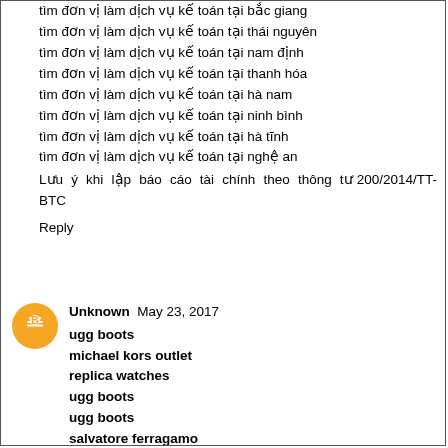tìm đơn vị làm dịch vụ kế toán tại bắc giang
tìm đơn vị làm dịch vụ kế toán tại thái nguyên
tìm đơn vị làm dịch vụ kế toán tại nam định
tìm đơn vị làm dịch vụ kế toán tại thanh hóa
tìm đơn vị làm dịch vụ kế toán tại hà nam
tìm đơn vị làm dịch vụ kế toán tại ninh bình
tìm đơn vị làm dịch vụ kế toán tại hà tĩnh
tìm đơn vị làm dịch vụ kế toán tại nghệ an
Lưu ý khi lập báo cáo tài chính theo thông tư 200/2014/TT-BTC
Reply
Unknown  May 23, 2017
ugg boots
michael kors outlet
replica watches
ugg boots
ugg boots
salvatore ferragamo
coach outlet
new york giants jerseys
nike blazer pas cher
michael kors handbags